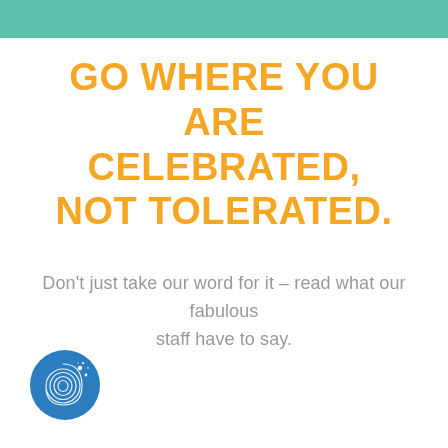[Figure (logo): Teal/green horizontal bar at the top of the page]
GO WHERE YOU ARE CELEBRATED, NOT TOLERATED.
Don’t just take our word for it – read what our fabulous staff have to say.
[Figure (logo): Blue circular logo with fingerprint and sparkle/star design in white, bottom left corner]